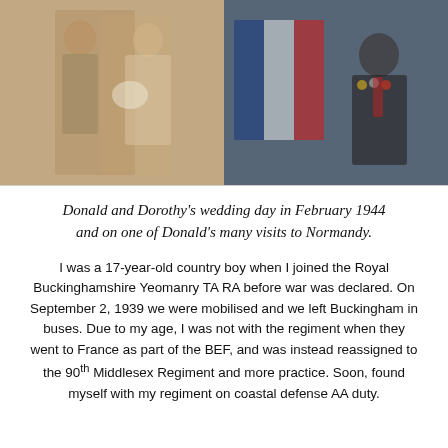[Figure (photo): Two side-by-side photos: left is a sepia-toned wedding photo of a man in military uniform and a woman in a white dress holding flowers; right is a color photo of an elderly man in a dark suit with medals and a striped tie, standing in front of a French flag.]
Donald and Dorothy’s wedding day in February 1944 and on one of Donald’s many visits to Normandy.
I was a 17-year-old country boy when I joined the Royal Buckinghamshire Yeomanry TA RA before war was declared. On September 2, 1939 we were mobilised and we left Buckingham in buses. Due to my age, I was not with the regiment when they went to France as part of the BEF, and was instead reassigned to the 90th Middlesex Regiment and more practice. Soon, found myself with my regiment on coastal defense AA duty.